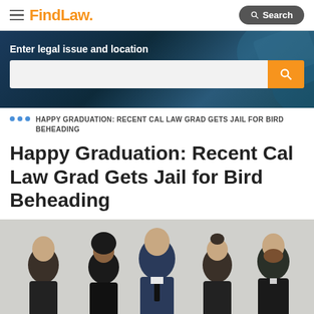FindLaw | Search
[Figure (screenshot): FindLaw website hero section with search bar for legal issue and location on dark blue background]
HAPPY GRADUATION: RECENT CAL LAW GRAD GETS JAIL FOR BIRD BEHEADING
Happy Graduation: Recent Cal Law Grad Gets Jail for Bird Beheading
[Figure (photo): Group of five young professionals in business attire posing in front of a white brick wall]